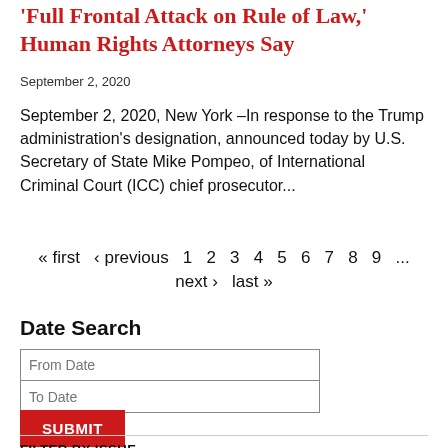'Full Frontal Attack on Rule of Law,' Human Rights Attorneys Say
September 2, 2020
September 2, 2020, New York –In response to the Trump administration's designation, announced today by U.S. Secretary of State Mike Pompeo, of International Criminal Court (ICC) chief prosecutor...
« first  ‹ previous  1  2  3  4  5  6  7  8  9  ...  next ›  last »
Date Search
From Date
To Date
SUBMIT
FILTER BY ISSUE